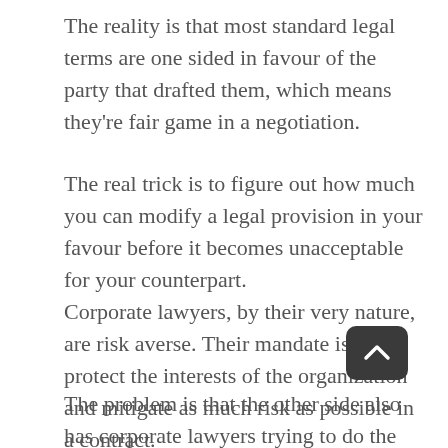The reality is that most standard legal terms are one sided in favour of the party that drafted them, which means they're fair game in a negotiation.
The real trick is to figure out how much you can modify a legal provision in your favour before it becomes unacceptable for your counterpart.
Corporate lawyers, by their very nature, are risk averse. Their mandate is to protect the interests of the organization and mitigate as much risk as possible in a contract.
The problem is that the other side also has corporate lawyers trying to do the exact same thing for their organization. This is why we should keep the lawyers at the back table in our